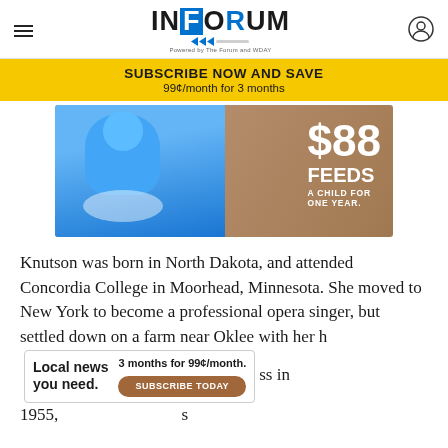INFORUM - Powered by The Forum and WDAY
SUBSCRIBE NOW AND SAVE
99¢/month for 3 months
[Figure (photo): Advertisement photo: child in blue shirt holding a bowl of food, with text '$88 FEEDS A CHILD FOR ONE YEAR.']
Knutson was born in North Dakota, and attended Concordia College in Moorhead, Minnesota. She moved to New York to become a professional opera singer, but settled down on a farm near Oklee with her h[usband] ... ss in 1955, ... s
Local news you need.  3 months for 99¢/month.  SUBSCRIBE TODAY